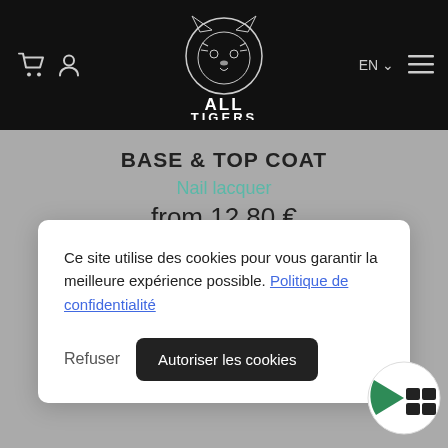[Figure (logo): All Tigers brand logo with tiger head illustration and text ALL TIGERS on dark navbar]
BASE & TOP COAT
Nail lacquer
from 12,80 €
Ce site utilise des cookies pour vous garantir la meilleure expérience possible. Politique de confidentialité
Refuser
Autoriser les cookies